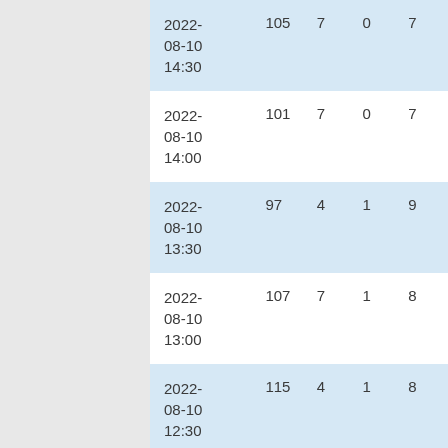| date | col1 | col2 | col3 | col4 |
| --- | --- | --- | --- | --- |
| 2022-08-10 14:30 | 105 | 7 | 0 | 7 |
| 2022-08-10 14:00 | 101 | 7 | 0 | 7 |
| 2022-08-10 13:30 | 97 | 4 | 1 | 9 |
| 2022-08-10 13:00 | 107 | 7 | 1 | 8 |
| 2022-08-10 12:30 | 115 | 4 | 1 | 8 |
| 2022-08-10 12:00 | 120 | 4 | 0 | 3 |